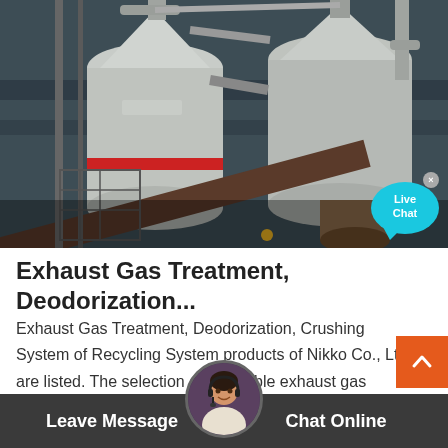[Figure (photo): Industrial machinery — large white cylindrical processing units with pipes, conveyors, and metal structures at an industrial plant site]
Exhaust Gas Treatment, Deodorization...
Exhaust Gas Treatment, Deodorization, Crushing System of Recycling System products of Nikko Co., Ltd. are listed. The selection of a suitable exhaust gas treatment system depends mainly on the facto le, plant site, and the neighboring environment.
Leave Message   Chat Online